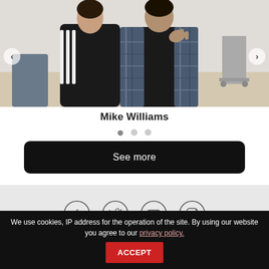[Figure (photo): Two people posing together indoors. Person on left wearing black Adidas tracksuit jacket with white stripes. Person on right wearing black outfit with blue plaid/flannel open shirt, making a hand gesture. Indoor room background with light wood floor.]
Mike Williams
[Figure (other): Carousel indicator dots: one filled gray dot and two empty/lighter dots]
See more
[Figure (other): Social media icons in circles: Facebook, Twitter, YouTube, Instagram]
We use cookies, IP address for the operation of the site. By using our website you agree to our privacy policy. ACCEPT